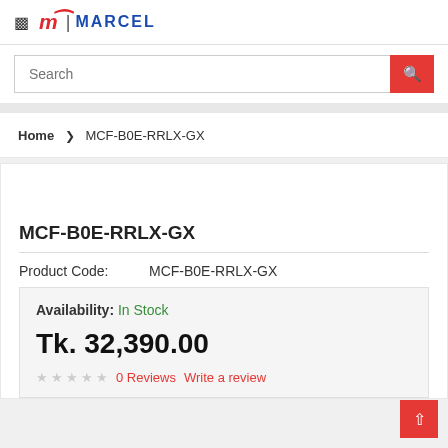MARCEL — Navigation and search header
Search
Home > MCF-B0E-RRLX-GX
MCF-B0E-RRLX-GX
Product Code: MCF-B0E-RRLX-GX
Availability: In Stock
Tk. 32,390.00
0 Reviews  Write a review